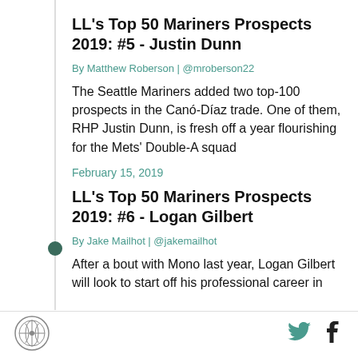LL's Top 50 Mariners Prospects 2019: #5 - Justin Dunn
By Matthew Roberson | @mroberson22
The Seattle Mariners added two top-100 prospects in the Canó-Díaz trade. One of them, RHP Justin Dunn, is fresh off a year flourishing for the Mets' Double-A squad
February 15, 2019
LL's Top 50 Mariners Prospects 2019: #6 - Logan Gilbert
By Jake Mailhot | @jakemailhot
After a bout with Mono last year, Logan Gilbert will look to start off his professional career in
Logo | Twitter | Facebook